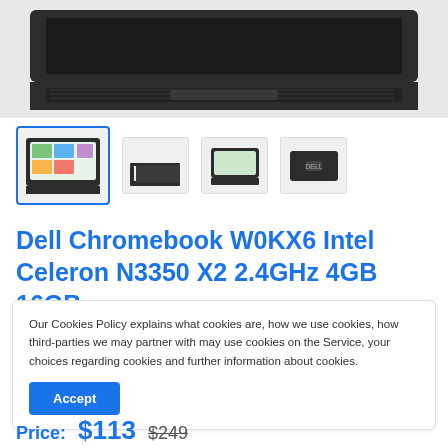[Figure (photo): Top view of a dark gray laptop/Chromebook keyboard, cropped at the top of the page]
[Figure (photo): Four product thumbnail images of the Dell Chromebook W0KX6: front view with screen, side/closed view, angled open view, and back view]
Dell Chromebook W0KX6 Intel Celeron N3350 X2 2.4GHz 4GB 16GB
Our Cookies Policy explains what cookies are, how we use cookies, how third-parties we may partner with may use cookies on the Service, your choices regarding cookies and further information about cookies.
Accept
Price:  $113  $249